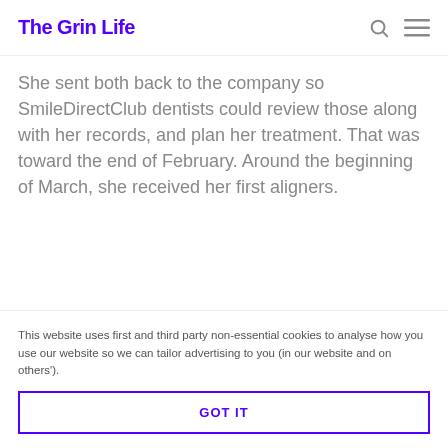The Grin Life
She sent both back to the company so SmileDirectClub dentists could review those along with her records, and plan her treatment. That was toward the end of February. Around the beginning of March, she received her first aligners.
A few years ago, Diana started sharing personal
This website uses first and third party non-essential cookies to analyse how you use our website so we can tailor advertising to you (in our website and on others').
GOT IT